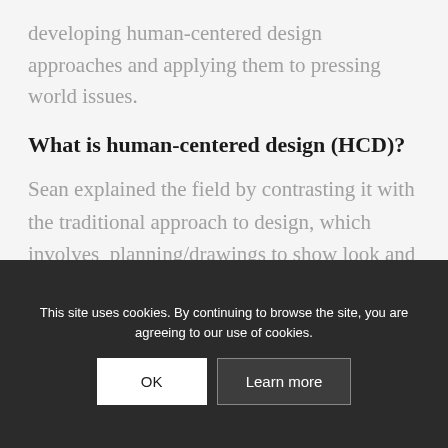developing human-centered design approaches and applying them to pressing world issues.
What is human-centered design (HCD)?
Sean explained the field by contrasting it with the traditional approach to design, which involves planning/drawings to show look and functionality of a product. Instead, human-centered design is a problem-solving approach to innovation. Sean explained that it begins with a deep empathy with a customer's needs, hopes, wants, etc. It is innovation rooted in people, and the broader context
This site uses cookies. By continuing to browse the site, you are agreeing to our use of cookies.